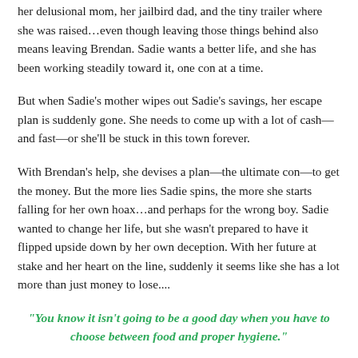her delusional mom, her jailbird dad, and the tiny trailer where she was raised…even though leaving those things behind also means leaving Brendan. Sadie wants a better life, and she has been working steadily toward it, one con at a time.
But when Sadie's mother wipes out Sadie's savings, her escape plan is suddenly gone. She needs to come up with a lot of cash—and fast—or she'll be stuck in this town forever.
With Brendan's help, she devises a plan—the ultimate con—to get the money. But the more lies Sadie spins, the more she starts falling for her own hoax…and perhaps for the wrong boy. Sadie wanted to change her life, but she wasn't prepared to have it flipped upside down by her own deception. With her future at stake and her heart on the line, suddenly it seems like she has a lot more than just money to lose....
"You know it isn't going to be a good day when you have to choose between food and proper hygiene."